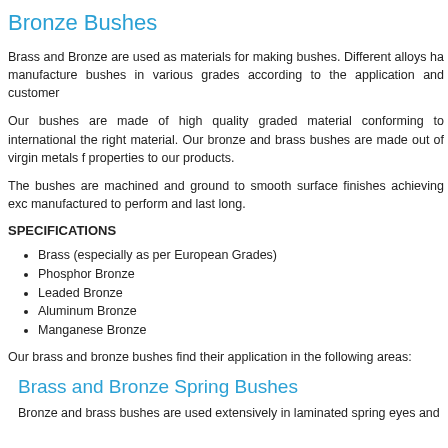Bronze Bushes
Brass and Bronze are used as materials for making bushes. Different alloys ha manufacture bushes in various grades according to the application and customer
Our bushes are made of high quality graded material conforming to international the right material. Our bronze and brass bushes are made out of virgin metals f properties to our products.
The bushes are machined and ground to smooth surface finishes achieving exc manufactured to perform and last long.
SPECIFICATIONS
Brass (especially as per European Grades)
Phosphor Bronze
Leaded Bronze
Aluminum Bronze
Manganese Bronze
Our brass and bronze bushes find their application in the following areas:
Brass and Bronze Spring Bushes
Bronze and brass bushes are used extensively in laminated spring eyes and